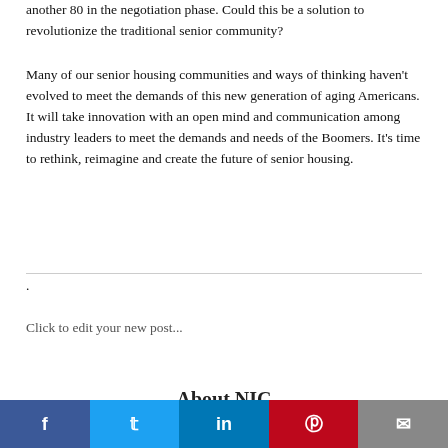another 80 in the negotiation phase. Could this be a solution to revolutionize the traditional senior community?
Many of our senior housing communities and ways of thinking haven't evolved to meet the demands of this new generation of aging Americans. It will take innovation with an open mind and communication among industry leaders to meet the demands and needs of the Boomers. It's time to rethink, reimagine and create the future of senior housing.
.
Click to edit your new post...
About NIC
Facebook Twitter LinkedIn Pinterest Email